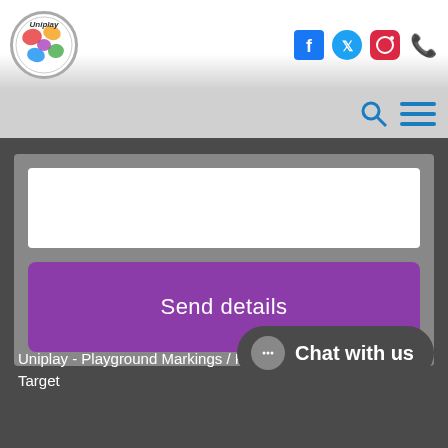[Figure (screenshot): Uniplay website header with logo on left and social media icons (Facebook, Twitter, Instagram, phone) on right, plus search and menu icons in navigation bar below]
[Figure (screenshot): Gray form area with white text input box and purple 'Send details' button]
Send details
Uniplay - Playground Markings / Products / Targets / Solid Target
[Figure (screenshot): Chat with us button in dark rounded rectangle at bottom right]
Chat with us
[Figure (illustration): Orange silhouettes of children playing at the bottom of the page]